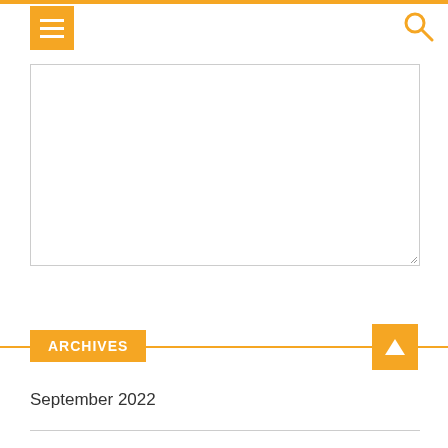[Figure (screenshot): Orange top navigation bar with hamburger menu icon on the left and search icon on the right]
[Figure (screenshot): Large text area input box with resize handle at bottom-right]
Submit
ARCHIVES
September 2022